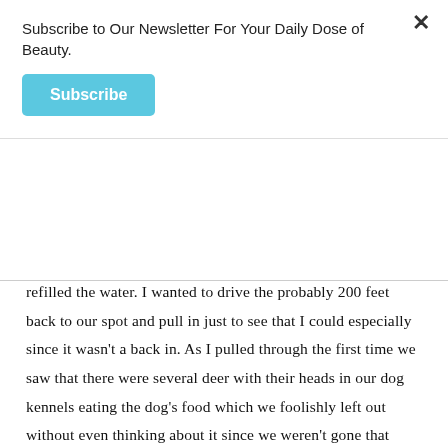Subscribe to Our Newsletter For Your Daily Dose of Beauty.
Subscribe
refilled the water. I wanted to drive the probably 200 feet back to our spot and pull in just to see that I could especially since it wasn't a back in. As I pulled through the first time we saw that there were several deer with their heads in our dog kennels eating the dog's food which we foolishly left out without even thinking about it since we weren't gone that long. They also ate an entire bag of chips that were left on a chair. I was thankful they didn't leave anything behind 🙁 but they were almost impossible to scoot away and were happy to finish their snack while I completely messed up the